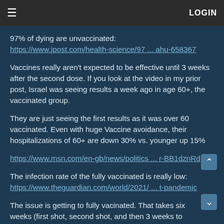≡  LOGIN
97% of dying are unvaccinated:
https://www.jpost.com/health-science/97 ... ahu-658367
Vaccines really aren't expected to be effective until 3 weeks after the second dose. If you look at the video in my prior post, Israel was seeing results a week ago in age 60+, the vaccinated group.
They are just seeing the first results as it was over 60 vaccinated. Even with huge Vaccine avoidance, their hospitalizations of 60+ are down 30% vs. younger up 15%
https://www.msn.com/en-gb/news/politics ... r-BB1dznRd
The infection rate of the fully vaccinated is really low:
https://www.theguardian.com/world/2021/ ... t-pandemic
The issue is getting to fully vacinated. That takes six weeks (first shot, second shot, and then 3 weeks to build immunity, some evidence 1 week after 2nd shot).
So give Israel time. They only ramped up innoculations December 28th.